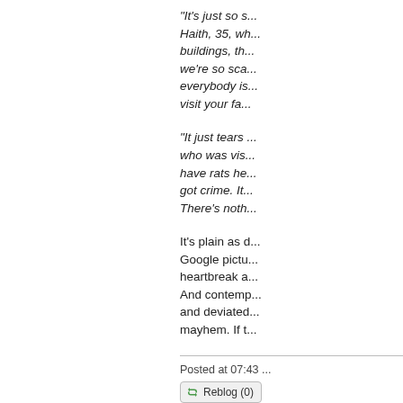"It's just so s... Haith, 35, wh... buildings, th... we're so sca... everybody is... visit your fa...
"It just tears... who was vis... have rats he... got crime. It... There's noth...
It's plain as d... Google pictu... heartbreak a... And contemp... and deviated... mayhem. If t...
Posted at 07:43
Reblog (0)